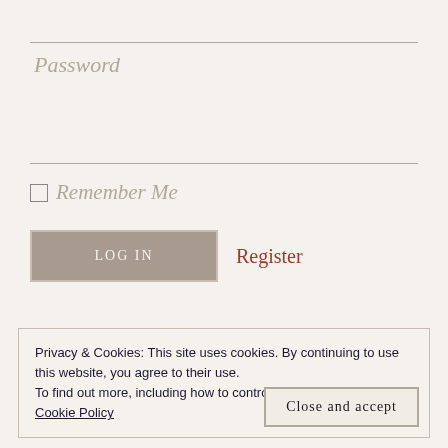Password
Remember Me
LOG IN
Register
Privacy & Cookies: This site uses cookies. By continuing to use this website, you agree to their use.
To find out more, including how to control cookies, see here:
Cookie Policy
Close and accept